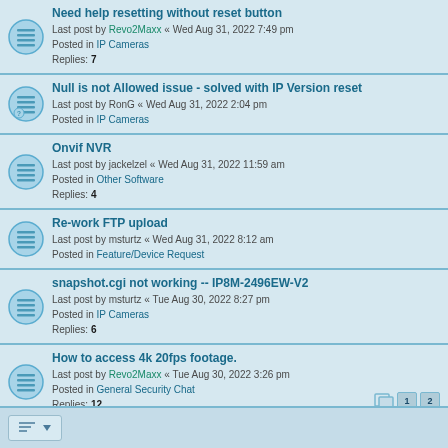Need help resetting without reset button
Last post by Revo2Maxx « Wed Aug 31, 2022 7:49 pm
Posted in IP Cameras
Replies: 7
Null is not Allowed issue - solved with IP Version reset
Last post by RonG « Wed Aug 31, 2022 2:04 pm
Posted in IP Cameras
Onvif NVR
Last post by jackelzel « Wed Aug 31, 2022 11:59 am
Posted in Other Software
Replies: 4
Re-work FTP upload
Last post by msturtz « Wed Aug 31, 2022 8:12 am
Posted in Feature/Device Request
snapshot.cgi not working -- IP8M-2496EW-V2
Last post by msturtz « Tue Aug 30, 2022 8:27 pm
Posted in IP Cameras
Replies: 6
How to access 4k 20fps footage.
Last post by Revo2Maxx « Tue Aug 30, 2022 3:26 pm
Posted in General Security Chat
Replies: 12
AD110 update, picture washed out
Last post by GaryOkie « Tue Aug 30, 2022 2:23 pm
Posted in Amcrest Smart Home
Replies: 9